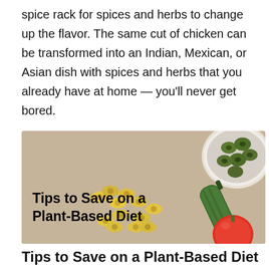spice rack for spices and herbs to change up the flavor. The same cut of chicken can be transformed into an Indian, Mexican, or Asian dish with spices and herbs that you already have at home — you'll never get bored.
[Figure (photo): Food photo banner with pasta, olives in bowl, zucchini, and tomato on a tan/kraft paper background. Text overlay reads: Tips to Save on a Plant-Based Diet]
Tips to Save on a Plant-Based Diet